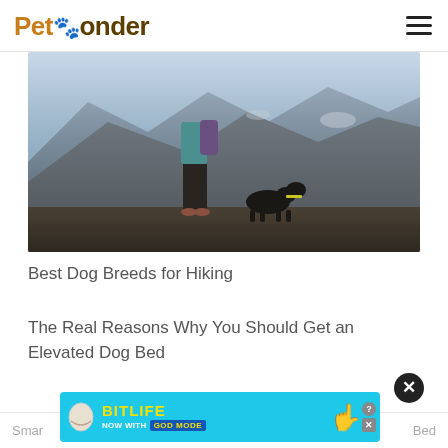PetPonder
[Figure (photo): Person and dog hiking in mountain landscape with rocky cliffs]
Best Dog Breeds for Hiking
The Real Reasons Why You Should Get an Elevated Dog Bed
[Figure (screenshot): BitLife advertisement banner: NOW WITH GOD MODE with close button overlay]
Smar ... Bed